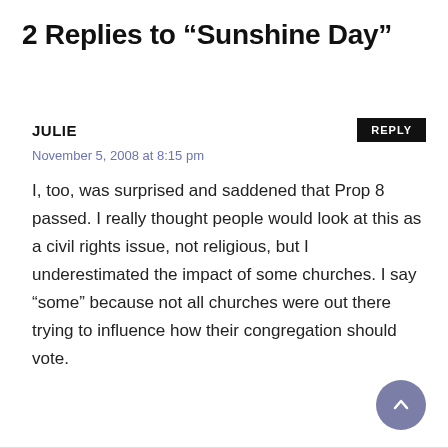2 Replies to “Sunshine Day”
JULIE
November 5, 2008 at 8:15 pm
I, too, was surprised and saddened that Prop 8 passed. I really thought people would look at this as a civil rights issue, not religious, but I underestimated the impact of some churches. I say “some” because not all churches were out there trying to influence how their congregation should vote.